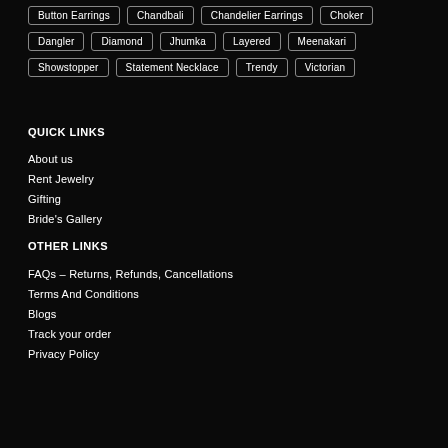Button Earrings
Chandbali
Chandelier Earrings
Choker
Dangler
Diamond
Jhumka
Layered
Meenakari
Showstopper
Statement Necklace
Trendy
Victorian
QUICK LINKS
About us
Rent Jewelry
Gifting
Bride's Gallery
OTHER LINKS
FAQs – Returns, Refunds, Cancellations
Terms And Conditions
Blogs
Track your order
Privacy Policy